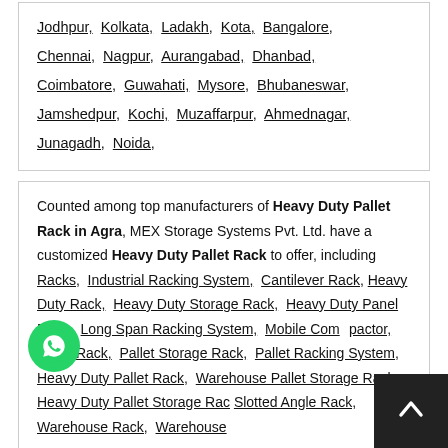Jodhpur, Kolkata, Ladakh, Kota, Bangalore, Chennai, Nagpur, Aurangabad, Dhanbad, Coimbatore, Guwahati, Mysore, Bhubaneswar, Jamshedpur, Kochi, Muzaffarpur, Ahmednagar, Junagadh, Noida,
Counted among top manufacturers of Heavy Duty Pallet Rack in Agra, MEX Storage Systems Pvt. Ltd. have a customized Heavy Duty Pallet Rack to offer, including Racks, Industrial Racking System, Cantilever Rack, Heavy Duty Rack, Heavy Duty Storage Rack, Heavy Duty Panel Rack, Long Span Racking System, Mobile Compactor, Pallet Rack, Pallet Storage Rack, Pallet Racking System, Heavy Duty Pallet Rack, Warehouse Pallet Storage Rack, Heavy Duty Pallet Storage Rack, Slotted Angle Rack, Warehouse Rack, Warehouse